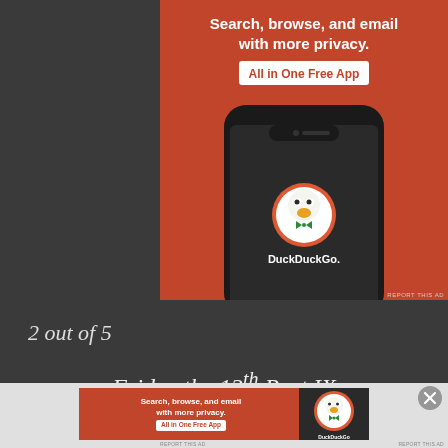[Figure (screenshot): DuckDuckGo advertisement banner - orange background with white bold text 'Search, browse, and email with more privacy.' and white button 'All in One Free App' in red text, plus a phone mockup showing DuckDuckGo app logo]
REPORT THIS AD
2 out of 5
Friday the 13th Part IX
[Figure (screenshot): DuckDuckGo advertisement banner (smaller version) - orange background with white text 'Search, browse, and email with more privacy.' and 'All in One Free App' button, plus DuckDuckGo logo on right side]
REPORT THIS AD
REPORT THIS AD